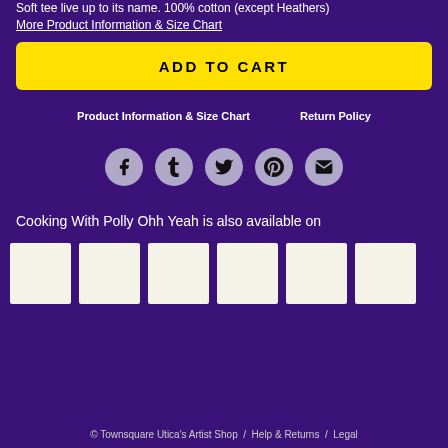Soft tee live up to its name. 100% cotton (except Heathers)
More Product Information & Size Chart
ADD TO CART
Product Information & Size Chart
Return Policy
[Figure (infographic): Row of 5 social media icons (Facebook, Tumblr, Twitter, Pinterest, Email) on circular grey backgrounds]
Cooking With Polly Ohh Yeah is also available on
[Figure (infographic): Row of 6 white/cream thumbnail product image placeholders]
© Townsquare Utica's Artist Shop  /  Help & Returns  /  Legal